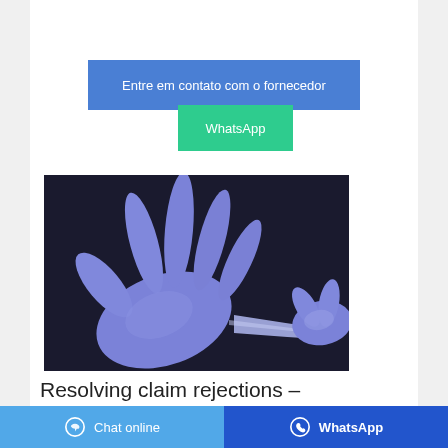Entre em contato com o fornecedor
WhatsApp
[Figure (photo): Two hands wearing blue/purple latex gloves, one hand stretching the glove material of the other hand against a dark background]
Resolving claim rejections –
Chat online
WhatsApp